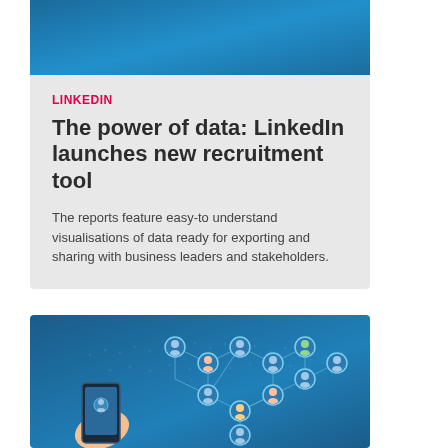[Figure (illustration): Blue gradient banner image at the top of a card]
LINKEDIN
The power of data: LinkedIn launches new recruitment tool
The reports feature easy-to understand visualisations of data ready for exporting and sharing with business leaders and stakeholders.
[Figure (illustration): Blue background infographic showing a hand holding a smartphone with a network of connected profile icons arranged in hexagonal pattern, representing a professional social network]